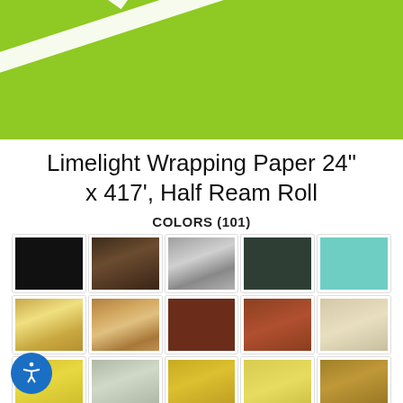[Figure (photo): Lime green wrapping paper with white ribbon crossing diagonally, viewed from above, cropped product shot]
Limelight Wrapping Paper 24" x 417', Half Ream Roll
COLORS (101)
[Figure (illustration): Color swatch grid showing 20 visible swatches in 5 columns and 4 rows: Row1: black, dark brown, brushed silver, dark teal, light teal; Row2: gold/yellow sheen, rose gold sheen, dark maroon, rust/copper, light beige; Row3: bright yellow-green, light silver-gray, dark gold, pale yellow, dark khaki; Row4 (partial): tan, olive green, dark teal, brown-orange, red]